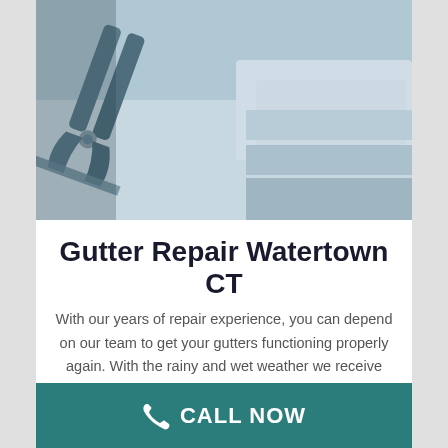[Figure (photo): Close-up photo of metal gutter cutting/installation tool (snips or pliers) being used on a gutter, with blurred background showing roofing materials]
Gutter Repair Watertown CT
With our years of repair experience, you can depend on our team to get your gutters functioning properly again. With the rainy and wet weather we receive here in Connecticut, leaks in gutter systems can cause dry rot, erosion to the foundation or landscaping
CALL NOW